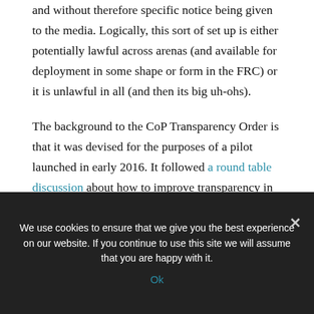and without therefore specific notice being given to the media. Logically, this sort of set up is either potentially lawful across arenas (and available for deployment in some shape or form in the FRC) or it is unlawful in all (and then its big uh-ohs).
The background to the CoP Transparency Order is that it was devised for the purposes of a pilot launched in early 2016. It followed a round table discussion about how to improve transparency in the Court of Protection, which at the time sat in private without a right of access to the media. The
We use cookies to ensure that we give you the best experience on our website. If you continue to use this site we will assume that you are happy with it.
Ok